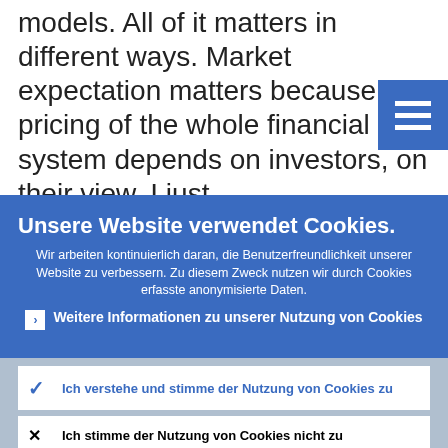models. All of it matters in different ways. Market expectation matters because the pricing of the whole financial system depends on investors, on their view. I just
[Figure (other): Hamburger menu button (three horizontal bars) in blue square, top right corner]
Unsere Website verwendet Cookies.
Wir arbeiten kontinuierlich daran, die Benutzerfreundlichkeit unserer Website zu verbessern. Zu diesem Zweck nutzen wir durch Cookies erfasste anonymisierte Daten.
› Weitere Informationen zu unserer Nutzung von Cookies
✓ Ich verstehe und stimme der Nutzung von Cookies zu
✕ Ich stimme der Nutzung von Cookies nicht zu